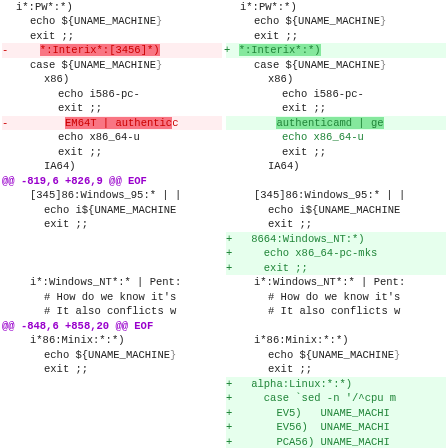[Figure (screenshot): A side-by-side diff view of shell script code showing two columns: left (old version) and right (new version), with removed lines highlighted in red and added lines in green. Contains diff hunks at -819,6 +826,9 and -848,6 +858,20 with code related to system architecture detection (Interix, Windows, Minix, Linux/alpha).]